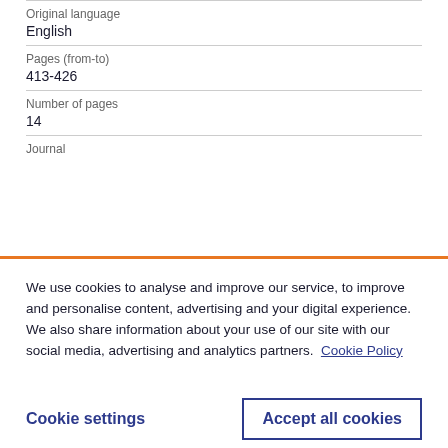| Original language | English |
| Pages (from-to) | 413-426 |
| Number of pages | 14 |
| Journal |  |
We use cookies to analyse and improve our service, to improve and personalise content, advertising and your digital experience. We also share information about your use of our site with our social media, advertising and analytics partners.  Cookie Policy
Cookie settings
Accept all cookies